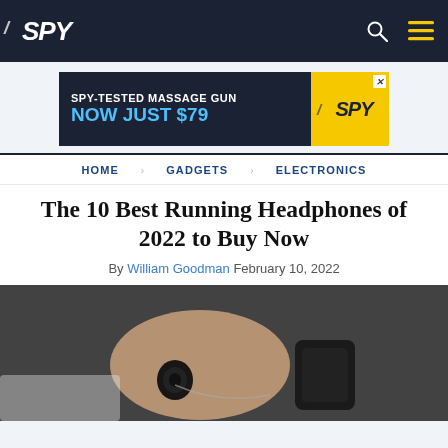SPY
[Figure (other): Advertisement banner: SPY-TESTED MASSAGE GUN NOW JUST $79 with SPY logo on yellow background]
HOME
GADGETS
ELECTRONICS
The 10 Best Running Headphones of 2022 to Buy Now
By William Goodman February 10, 2022
[Figure (photo): Person holding wireless earbuds, with running gear in background]